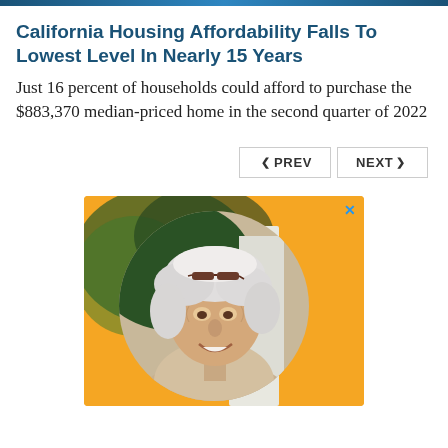California Housing Affordability Falls To Lowest Level In Nearly 15 Years
Just 16 percent of households could afford to purchase the $883,370 median-priced home in the second quarter of 2022
[Figure (other): Navigation buttons: PREV and NEXT]
[Figure (photo): Advertisement banner showing an elderly man with white hair and glasses on his head, smiling, set against a yellow/orange background. There is a close (X) button in the top right corner.]